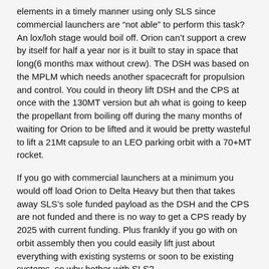elements in a timely manner using only SLS since commercial launchers are “not able” to perform this task? An lox/loh stage would boil off. Orion can’t support a crew by itself for half a year nor is it built to stay in space that long(6 months max without crew). The DSH was based on the MPLM which needs another spacecraft for propulsion and control. You could in theory lift DSH and the CPS at once with the 130MT version but ah what is going to keep the propellant from boiling off during the many months of waiting for Orion to be lifted and it would be pretty wasteful to lift a 21Mt capsule to an LEO parking orbit with a 70+MT rocket.
If you go with commercial launchers at a minimum you would off load Orion to Delta Heavy but then that takes away SLS’s sole funded payload as the DSH and the CPS are not funded and there is no way to get a CPS ready by 2025 with current funding. Plus frankly if you go with on orbit assembly then you could easily lift just about everything with existing systems or soon to be existing systems, so why bother with SLS?